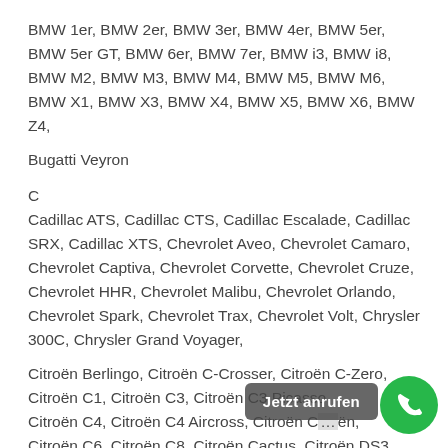BMW 1er, BMW 2er, BMW 3er, BMW 4er, BMW 5er, BMW 5er GT, BMW 6er, BMW 7er, BMW i3, BMW i8, BMW M2, BMW M3, BMW M4, BMW M5, BMW M6, BMW X1, BMW X3, BMW X4, BMW X5, BMW X6, BMW Z4,
Bugatti Veyron
C
Cadillac ATS, Cadillac CTS, Cadillac Escalade, Cadillac SRX, Cadillac XTS, Chevrolet Aveo, Chevrolet Camaro, Chevrolet Captiva, Chevrolet Corvette, Chevrolet Cruze, Chevrolet HHR, Chevrolet Malibu, Chevrolet Orlando, Chevrolet Spark, Chevrolet Trax, Chevrolet Volt, Chrysler 300C, Chrysler Grand Voyager,
Citroën Berlingo, Citroën C-Crosser, Citroën C-Zero, Citroën C1, Citroën C3, Citroën C3 Picasso
Citroën C4, Citroën C4 Aircross, Citroën C…ën, Citroën C6, Citroën C8, Citroën Cactus, Citroën DS3, Citroën DS4,